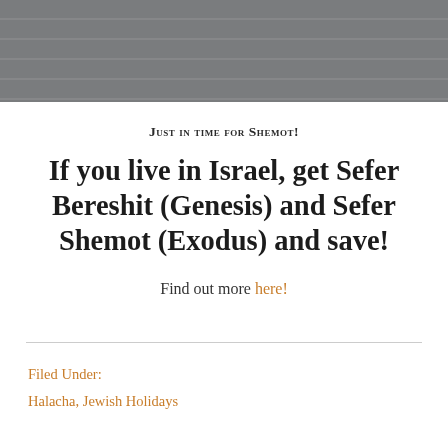[Figure (photo): Top portion of image showing a wooden surface or book on a gray wooden floor]
Just in time for Shemot!
If you live in Israel, get Sefer Bereshit (Genesis) and Sefer Shemot (Exodus) and save!
Find out more here!
Filed Under:
Halacha, Jewish Holidays